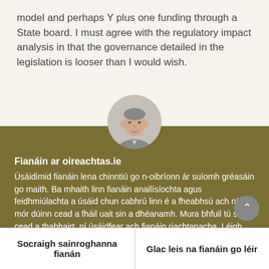model and perhaps Y plus one funding through a State board. I must agree with the regulatory impact analysis in that the governance detailed in the legislation is looser than I would wish.
[Figure (photo): Circular avatar portrait of a man, partially cropped at bottom, shown on a grey circular background.]
Fianáin ar oireachtas.ie
Úsáidimid fianáin lena chinntiú go n-oibríonn ár suíomh gréasáin go maith. Ba mhaith linn fianáin anailísíochta agus feidhmiúlachta a úsáid chun cabhrú linn é a fheabhsú ach ní mór dúinn cead a fháil uait sin a dhéanamh. Mura bhfuil tú sásta cead a thabhairt, ní úsáidfear ach fianáin riachtanacha. Léigh tuileadh faoinár bhfianáin
Socraigh sainroghanna fianán
Glac leis na fianáin go léir